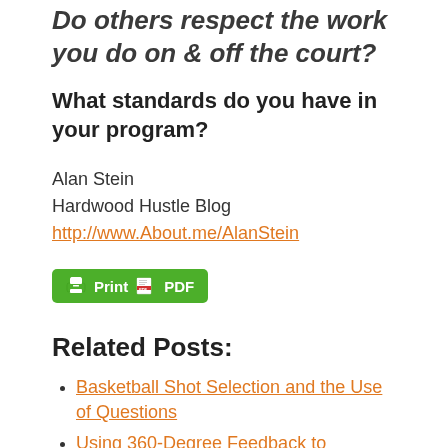Do others respect the work you do on & off the court?
What standards do you have in your program?
Alan Stein
Hardwood Hustle Blog
http://www.About.me/AlanStein
[Figure (other): Green Print / PDF button with printer icon and PDF icon]
Related Posts:
Basketball Shot Selection and the Use of Questions
Using 360-Degree Feedback to Enhance Your